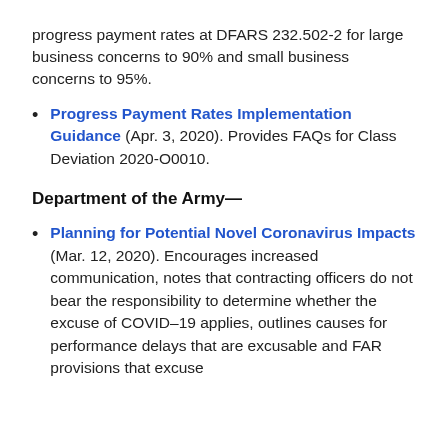progress payment rates at DFARS 232.502-2 for large business concerns to 90% and small business concerns to 95%.
Progress Payment Rates Implementation Guidance (Apr. 3, 2020). Provides FAQs for Class Deviation 2020-O0010.
Department of the Army—
Planning for Potential Novel Coronavirus Impacts (Mar. 12, 2020). Encourages increased communication, notes that contracting officers do not bear the responsibility to determine whether the excuse of COVID–19 applies, outlines causes for performance delays that are excusable and FAR provisions that excuse